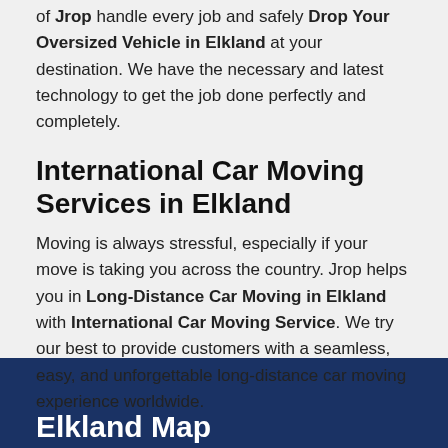of Jrop handle every job and safely Drop Your Oversized Vehicle in Elkland at your destination. We have the necessary and latest technology to get the job done perfectly and completely.
International Car Moving Services in Elkland
Moving is always stressful, especially if your move is taking you across the country. Jrop helps you in Long-Distance Car Moving in Elkland with International Car Moving Service. We try our best to provide customers with a seamless, easy, and unforgettable long-distance car moving experience worldwide.
Elkland Map